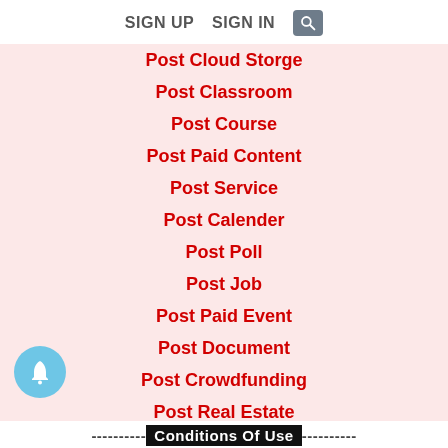SIGN UP   SIGN IN
Post Cloud Storge
Post Classroom
Post Course
Post Paid Content
Post Service
Post Calender
Post Poll
Post Job
Post Paid Event
Post Document
Post Crowdfunding
Post Real Estate
----------Conditions Of Use----------